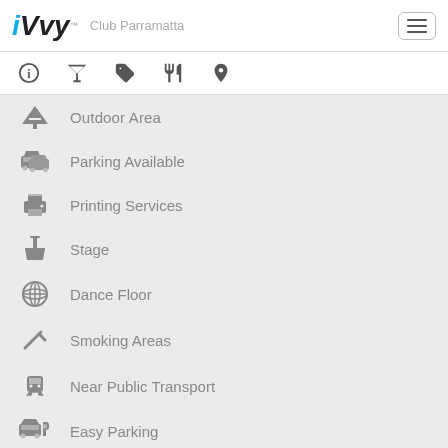iVvy Club Parramatta
Outdoor Area
Parking Available
Printing Services
Stage
Dance Floor
Smoking Areas
Near Public Transport
Easy Parking
Open Plan Space